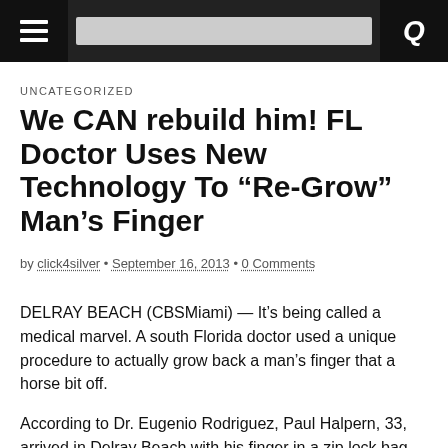navigation bar with menu and search icons
UNCATEGORIZED
We CAN rebuild him! FL Doctor Uses New Technology To “Re-Grow” Man’s Finger
by click4silver • September 16, 2013 • 0 Comments
DELRAY BEACH (CBSMiami) — It’s being called a medical marvel. A south Florida doctor used a unique procedure to actually grow back a man’s finger that a horse bit off.
According to Dr. Eugenio Rodriguez, Paul Halpern, 33, arrived in Delray Beach with his finger in a zip lock bag. The insurance company wanted the rest of the finger amputated. However, a doctor wanted to try a unique procedure.